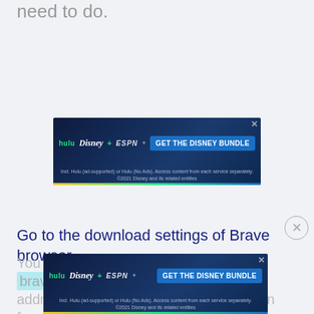need to do.
[Figure (screenshot): Disney Bundle advertisement banner showing Hulu, Disney+, and ESPN+ logos with 'GET THE DISNEY BUNDLE' button. Fine print: Incl. Hulu (ad-supported) or Hulu (No Ads). Access content from each service separately. ©2021 Disney and its related entities.]
Go to the download settings of Brave browser.
You can either enter
brave://settings/downloads
address bar or access the Settings option from
[Figure (screenshot): Disney Bundle advertisement banner (second instance) showing Hulu, Disney+, and ESPN+ logos with 'GET THE DISNEY BUNDLE' button. Fine print: Incl. Hulu (ad-supported) or Hulu (No Ads). Access content from each service separately. ©2021 Disney and its related entities.]